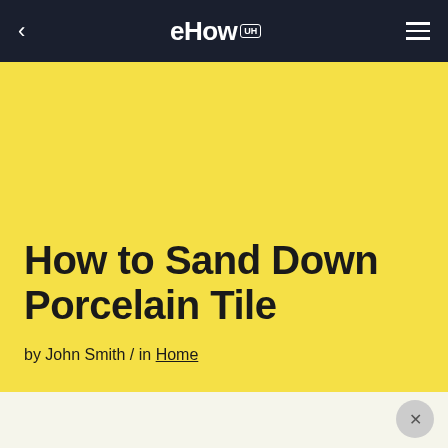eHow
How to Sand Down Porcelain Tile
by John Smith / in Home